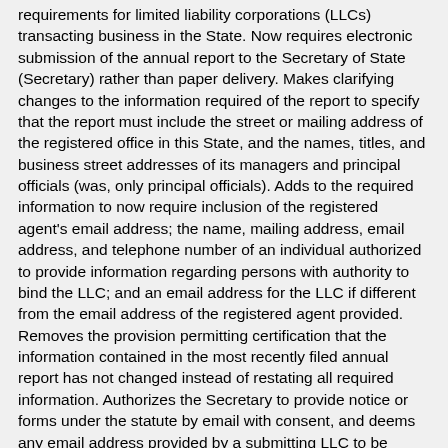requirements for limited liability corporations (LLCs) transacting business in the State. Now requires electronic submission of the annual report to the Secretary of State (Secretary) rather than paper delivery. Makes clarifying changes to the information required of the report to specify that the report must include the street or mailing address of the registered office in this State, and the names, titles, and business street addresses of its managers and principal officials (was, only principal officials). Adds to the required information to now require inclusion of the registered agent's email address; the name, mailing address, email address, and telephone number of an individual authorized to provide information regarding persons with authority to bind the LLC; and an email address for the LLC if different from the email address of the registered agent provided. Removes the provision permitting certification that the information contained in the most recently filed annual report has not changed instead of restating all required information. Authorizes the Secretary to provide notice or forms under the statute by email with consent, and deems any email address provided by a submitting LLC to be confidential and not public record. Makes further clarifying, conforming, and technical changes.
Makes conforming changes to GS 57D-1-22, and decreases the fee for...